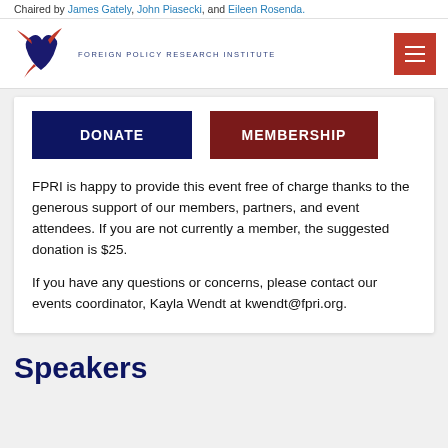Chaired by James Gately, John Piasecki, and Eileen Rosenda.
[Figure (logo): Foreign Policy Research Institute logo with eagle/bird graphic and text 'FOREIGN POLICY RESEARCH INSTITUTE']
DONATE
MEMBERSHIP
FPRI is happy to provide this event free of charge thanks to the generous support of our members, partners, and event attendees. If you are not currently a member, the suggested donation is $25.
If you have any questions or concerns, please contact our events coordinator, Kayla Wendt at kwendt@fpri.org.
Speakers